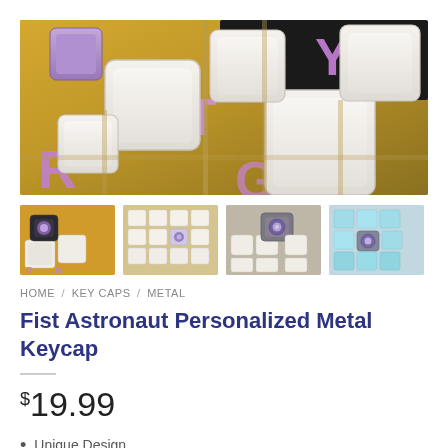[Figure (photo): Close-up photo of white mechanical keyboard keycaps with purple/lavender letter legends (R, T, Y, H visible), with one purple keycap in the upper left. Warm beige/golden background.]
[Figure (photo): Thumbnail 1: Mechanical keyboard with special artisan keycaps on a yellow-orange surface]
[Figure (photo): Thumbnail 2: White/cream mechanical keyboard with artisan keycap, top-down view]
[Figure (photo): Thumbnail 3: Keyboard with grey/dark artisan astronaut keycap among white keycaps]
[Figure (photo): Thumbnail 4: Keyboard with teal/cyan keycaps and artisan keycap]
HOME / KEY CAPS / METAL
Fist Astronaut Personalized Metal Keycap
$19.99
Unique Design
Premium Material